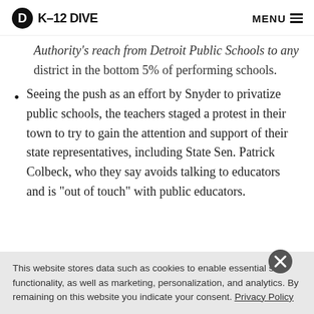K-12 DIVE | MENU
Authority's reach from Detroit Public Schools to any district in the bottom 5% of performing schools.
Seeing the push as an effort by Snyder to privatize public schools, the teachers staged a protest in their town to try to gain the attention and support of their state representatives, including State Sen. Patrick Colbeck, who they say avoids talking to educators and is “out of touch” with public educators.
This website stores data such as cookies to enable essential site functionality, as well as marketing, personalization, and analytics. By remaining on this website you indicate your consent. Privacy Policy